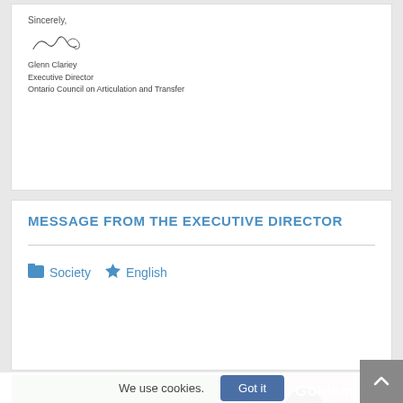Sincerely,
[signature]
Glenn Clariey
Executive Director
Ontario Council on Articulation and Transfer
MESSAGE FROM THE EXECUTIVE DIRECTOR
Society  English
[Figure (photo): Goldsmiths University of London promotional image showing a TV studio with green screen, cameras on tripods, people seated, and a silhouette of a person on the right. Text 'WHERE' visible at the bottom. Goldsmiths University of London logo in top right corner.]
We use cookies.
Got it